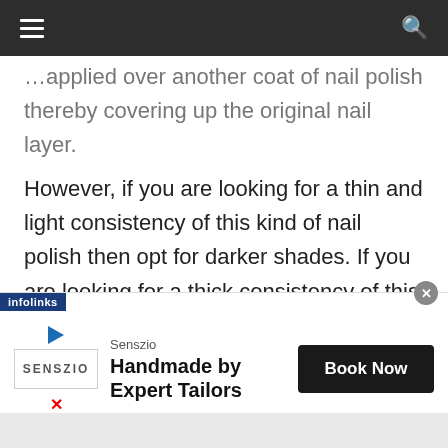≡  🔍
applied over another coat of nail polish thereby covering up the original nail layer.
However, if you are looking for a thin and light consistency of this kind of nail polish then opt for darker shades. If you are looking for a thick consistency of this type of nail polish
[Figure (screenshot): Advertisement banner: Senszio - Handmade by Expert Tailors with Book Now button and infolinks label]